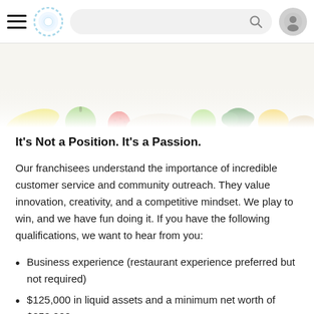Navigation bar with hamburger menu, logo, search bar, and user icon
[Figure (photo): Top-down photo of assorted fruits and vegetables on a white background including bananas, apples, strawberries, broccoli, peppers, and ginger.]
It’s Not a Position. It’s a Passion.
Our franchisees understand the importance of incredible customer service and community outreach. They value innovation, creativity, and a competitive mindset. We play to win, and we have fun doing it. If you have the following qualifications, we want to hear from you:
Business experience (restaurant experience preferred but not required)
$125,000 in liquid assets and a minimum net worth of $250,000